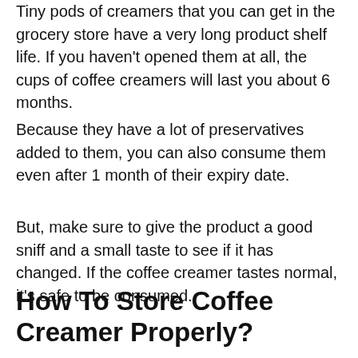Tiny pods of creamers that you can get in the grocery store have a very long product shelf life. If you haven't opened them at all, the cups of coffee creamers will last you about 6 months.
Because they have a lot of preservatives added to them, you can also consume them even after 1 month of their expiry date.
But, make sure to give the product a good sniff and a small taste to see if it has changed. If the coffee creamer tastes normal, it's safe to be consumed.
How To Store Coffee Creamer Properly?